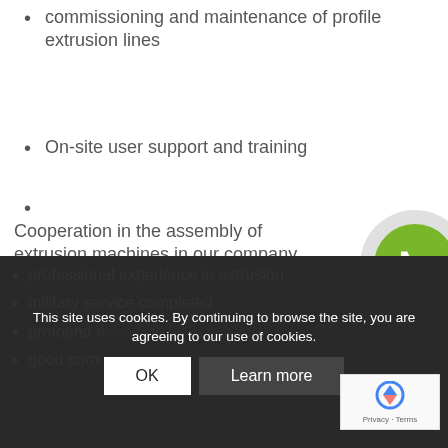commissioning and maintenance of profile extrusion lines
On-site user support and training
Cooperation in the assembly of extrusion machines in our company
[Figure (illustration): Green phone icon in a circular button with grey outer ring]
Requirements
Willingness to work abroad
professional experience in extrusion
military service completed
profound education
good command of English
This site uses cookies. By continuing to browse the site, you are agreeing to our use of cookies.
[Figure (logo): reCAPTCHA logo with Privacy - Terms text]